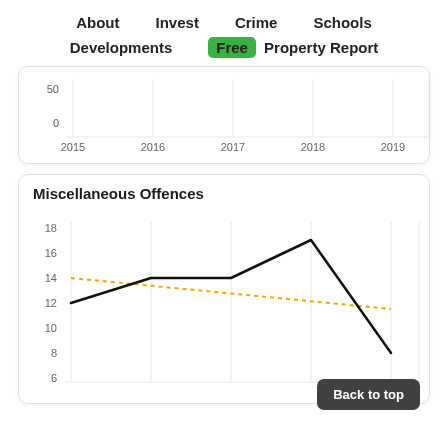About   Invest   Crime   Schools   Developments   Free Property Report
[Figure (line-chart): Partial line chart showing years 2015-2019 on x-axis, y-axis values 0 and 50 visible. Top portion of chart is cropped.]
Miscellaneous Offences
[Figure (line-chart): Miscellaneous Offences]